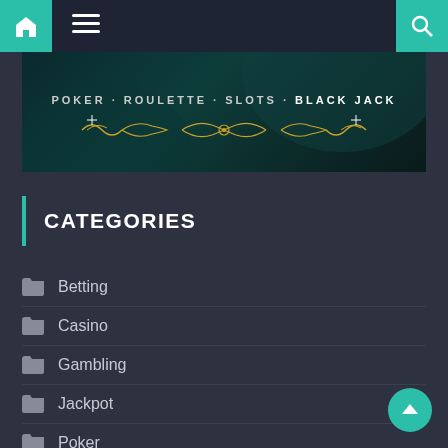Navigation bar with home, menu, and search icons
[Figure (illustration): Casino banner with dark teal background showing text: POKER · ROULETTE · SLOTS · BLACK JACK with golden ornamental decorative design]
CATEGORIES
Betting
Casino
Gambling
Jackpot
Poker